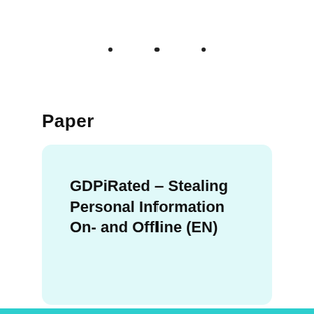Paper
GDPiRated – Stealing Personal Information On- and Offline (EN)